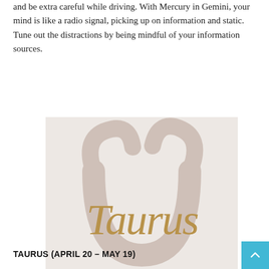and be extra careful while driving. With Mercury in Gemini, your mind is like a radio signal, picking up on information and static. Tune out the distractions by being mindful of your information sources.
[Figure (illustration): Taurus zodiac sign illustration: a beige/tan square background with a large light pink-brown Taurus bull symbol (circle with two horns) in the background, and the word 'Taurus' written in elegant gold/tan cursive script over it.]
TAURUS (APRIL 20 – MAY 19)